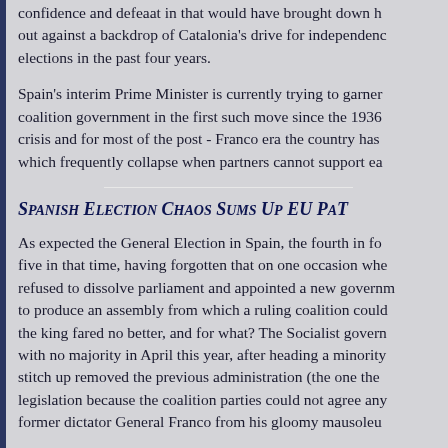confidence and defeaat in that would have brought down h... out against a backdrop of Catalonia's drive for independenc... elections in the past four years.
Spain's interim Prime Minister is currently trying to garner coalition government in the first such move since the 1936 crisis and for most of the post - Franco era the country has which frequently collapse when partners cannot support ea...
Spanish Election Chaos Sums Up EU Pa...
As expected the General Election in Spain, the fourth in fo... five in that time, having forgotten that on one occasion wh... refused to dissolve parliament and appointed a new govern... to produce an assembly from which a ruling coalition could... the king fared no better, and for what? The Socialist govern... with no majority in April this year, after heading a minority... stitch up removed the previous administration (the one the... legislation because the coalition parties could not agree an... former dictator General Franco from his gloomy mausoleu...